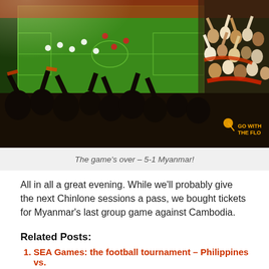[Figure (photo): Football stadium photo showing a large crowd of fans in the stands with arms raised, celebrating, with a green football pitch visible in the background. A watermark 'GO WITH THE FLO' is visible in the bottom right corner.]
The game's over – 5-1 Myanmar!
All in all a great evening. While we'll probably give the next Chinlone sessions a pass, we bought tickets for Myanmar's last group game against Cambodia.
Related Posts:
SEA Games: the football tournament – Philippines vs.